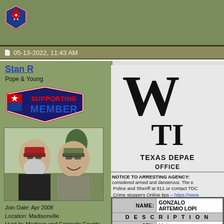[Figure (logo): Texas shield/logo icon in top left]
05-13-2022, 11:43 AM
Stan R
Pope & Young
[Figure (logo): Supporting Member badge with Texas flag star design]
[Figure (photo): Two men smiling outdoors, one with red cap and beard, one with camo cap]
Join Date: Apr 2008
Location: Madisonville
Hunt In: Madison and Colorado County
[Figure (other): Partial wanted poster showing large W and T letters, Texas Department heading, notice to arresting agency text, and a name/description table for Gonzalo Artemio Lopez]
| Label | Value |
| --- | --- |
| NAME: | GONZALO ARTEMIO LOPI |
| DESCRIPTION |  |
| SEX: | Male |
| RACE: | Hispanic |